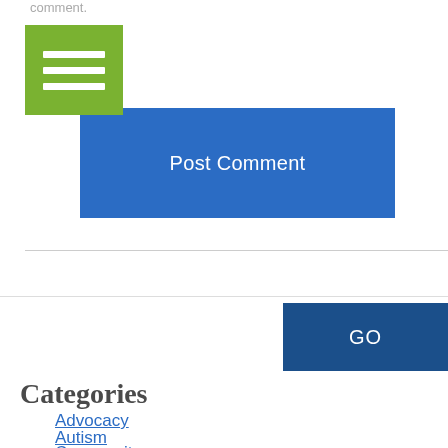comment.
[Figure (other): Green hamburger menu button with three white horizontal bars]
Post Comment
GO
Categories
Advocacy
Autism
Community